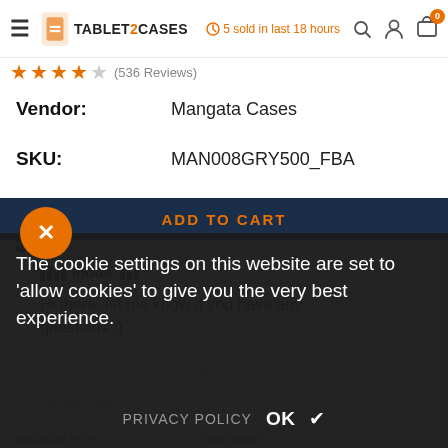TABLET2CASES — navigation bar with hamburger, logo, search, account, cart (0). 5 sold in last 18 hours.
★★★★☆ (536 Reviews)
Vendor: Mangata Cases
SKU: MAN008GRY500_FBA
[Figure (screenshot): Chat support widget popup from Gorgias showing agent name 'Inoue' with bar icon, message 'Hi there, let me know if you have any questions :)', powered by gorgias, and a 'Click to reply' input field.]
ADD TO CART
The cookie settings on this website are set to 'allow cookies' to give you the very best experience.
PRIVACY POLICY   OK ✔
MINIMUM QTY   DISCOUNT